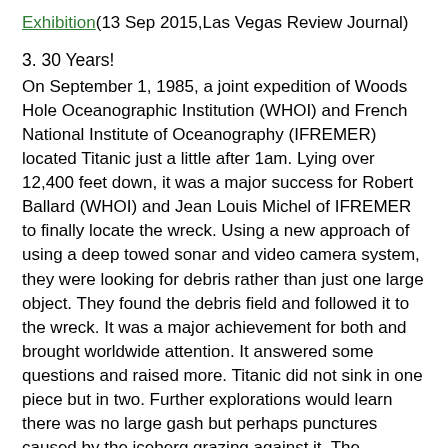Exhibition(13 Sep 2015,Las Vegas Review Journal)
3. 30 Years!
On September 1, 1985, a joint expedition of Woods Hole Oceanographic Institution (WHOI) and French National Institute of Oceanography (IFREMER) located Titanic just a little after 1am. Lying over 12,400 feet down, it was a major success for Robert Ballard (WHOI) and Jean Louis Michel of IFREMER to finally locate the wreck. Using a new approach of using a deep towed sonar and video camera system, they were looking for debris rather than just one large object. They found the debris field and followed it to the wreck. It was a major achievement for both and brought worldwide attention. It answered some questions and raised more. Titanic did not sink in one piece but in two. Further explorations would learn there was no large gash but perhaps punctures caused by the iceberg grazing against it. The subsequent salvage would touch off a firestorm between Titanic historians and enthusiasts, a debate that still lingers to this day.